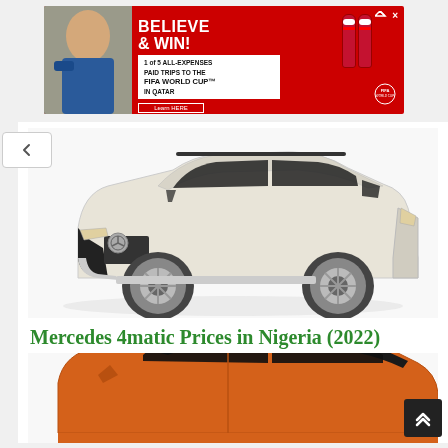[Figure (photo): Coca-Cola advertisement banner with red background. Text reads 'BELIEVE & WIN! 1 of 5 ALL-EXPENSES PAID TRIPS TO THE FIFA WORLD CUP in QATAR'. Features Coca-Cola bottles and a person drinking.]
[Figure (photo): White/cream Mercedes-Benz GLS SUV 4matic, front three-quarter view on white background.]
Mercedes 4matic Prices in Nigeria (2022)
[Figure (photo): Orange Mercedes-Benz GLS SUV 4matic, partial view showing roof and upper body, cut off at bottom of page.]